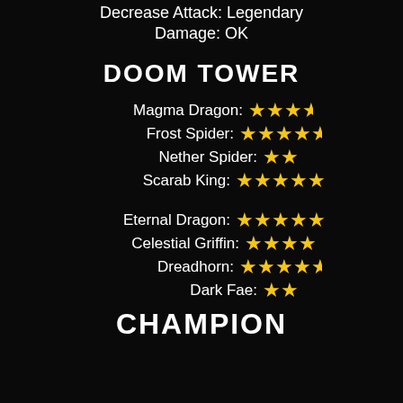Decrease Attack: Legendary
Damage: OK
DOOM TOWER
Magma Dragon: ★★★½
Frost Spider: ★★★★½
Nether Spider: ★★
Scarab King: ★★★★★
Eternal Dragon: ★★★★★
Celestial Griffin: ★★★★
Dreadhorn: ★★★★½
Dark Fae: ★★
CHAMPION